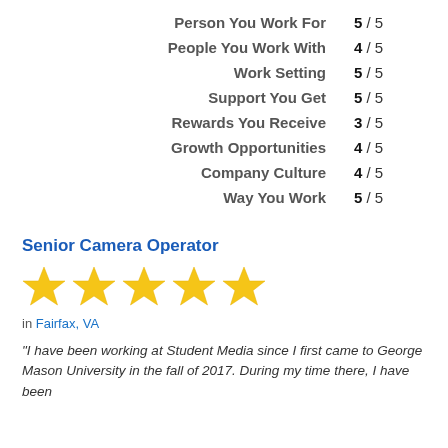Person You Work For  5 / 5
People You Work With  4 / 5
Work Setting  5 / 5
Support You Get  5 / 5
Rewards You Receive  3 / 5
Growth Opportunities  4 / 5
Company Culture  4 / 5
Way You Work  5 / 5
Senior Camera Operator
[Figure (illustration): Five golden stars rating]
in Fairfax, VA
"I have been working at Student Media since I first came to George Mason University in the fall of 2017. During my time there, I have been